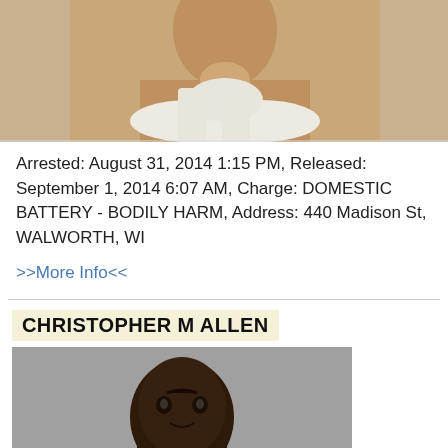[Figure (photo): Partial mugshot photo showing upper body of first person in white tank top, cropped at top]
Arrested: August 31, 2014 1:15 PM, Released: September 1, 2014 6:07 AM, Charge: DOMESTIC BATTERY - BODILY HARM, Address: 440 Madison St, WALWORTH, WI
>>More Info<<
CHRISTOPHER M ALLEN
[Figure (photo): Mugshot photo of Christopher M Allen, a young Black man wearing a white t-shirt, photographed against a gray background]